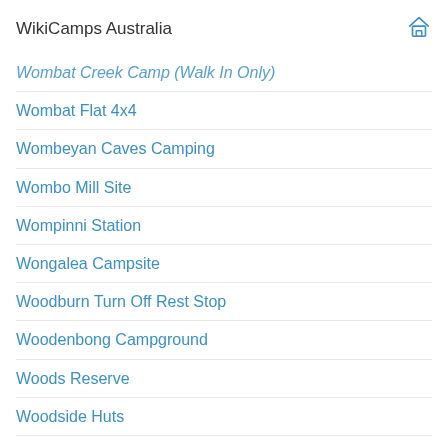WikiCamps Australia
Wombat Creek Camp (Walk In Only)
Wombat Flat 4x4
Wombeyan Caves Camping
Wombo Mill Site
Wompinni Station
Wongalea Campsite
Woodburn Turn Off Rest Stop
Woodenbong Campground
Woods Reserve
Woodside Huts
Woodstock Bowling Club
Woody Head Campground